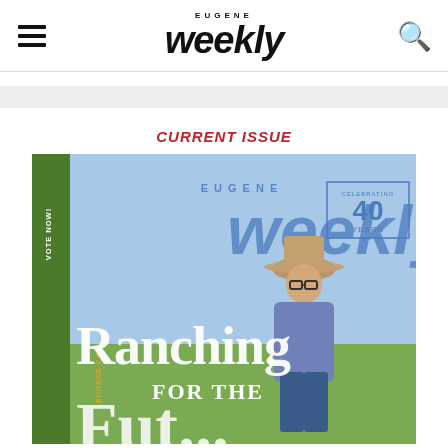Eugene Weekly
CURRENT ISSUE
[Figure (photo): Cover of Eugene Weekly magazine showing a rancher in a cowboy hat standing in a field, with large text reading 'Ranching for the...' and 'CELEBRATING 40 YEARS' in the upper right. A green sidebar reads 'EUGENE.COM VOTE NOW!']